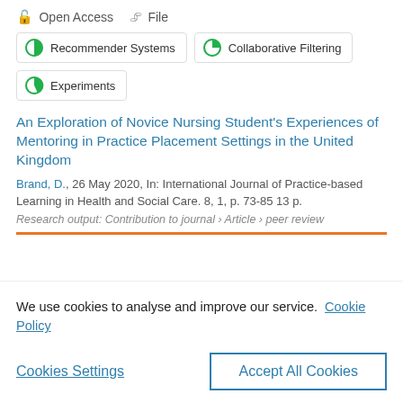Open Access   File
Recommender Systems
Collaborative Filtering
Experiments
An Exploration of Novice Nursing Student's Experiences of Mentoring in Practice Placement Settings in the United Kingdom
Brand, D., 26 May 2020, In: International Journal of Practice-based Learning in Health and Social Care. 8, 1, p. 73-85 13 p.
Research output: Contribution to journal › Article › peer-review
We use cookies to analyse and improve our service. Cookie Policy
Cookies Settings
Accept All Cookies